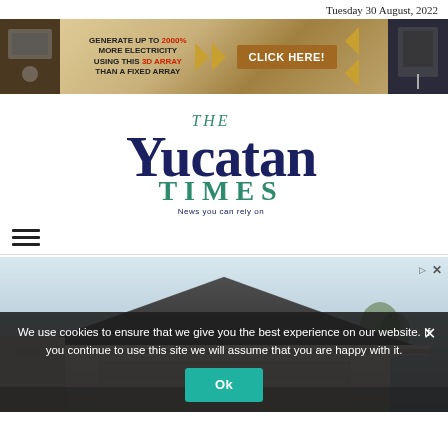Tuesday 30 August, 2022
[Figure (infographic): Advertisement banner: Generate up to 2000% more electricity using this 3D array than a fixed array. Click Here! button with chevron arrows, flanked by photos of solar panel installation.]
[Figure (logo): The Yucatan Times logo — stylized serif wordmark in dark navy and teal green. Tagline: News you can rely on.]
[Figure (infographic): Three horizontal lines hamburger menu icon]
[Figure (photo): Photo of a residential home rooftop with dark shingles against a sky backdrop, advertisement image of roof.]
We use cookies to ensure that we give you the best experience on our website. If you continue to use this site we will assume that you are happy with it.